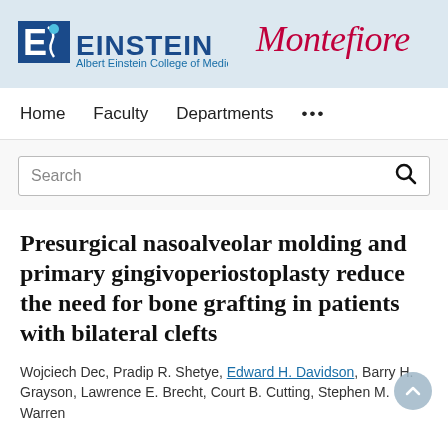[Figure (logo): Albert Einstein College of Medicine and Montefiore logos on blue-grey background header]
Home   Faculty   Departments   ...
[Figure (screenshot): Search bar with placeholder text 'Search' and magnifying glass icon]
Presurgical nasoalveolar molding and primary gingivoperiostoplasty reduce the need for bone grafting in patients with bilateral clefts
Wojciech Dec, Pradip R. Shetye, Edward H. Davidson, Barry H. Grayson, Lawrence E. Brecht, Court B. Cutting, Stephen M. Warren